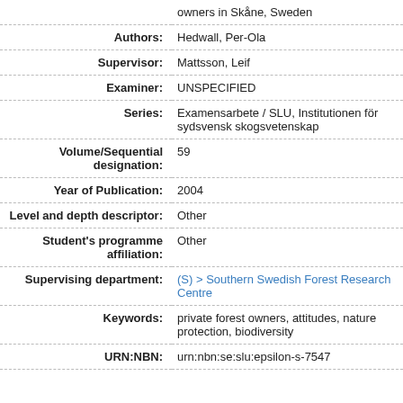| Field | Value |
| --- | --- |
|  | owners in Skåne, Sweden |
| Authors: | Hedwall, Per-Ola |
| Supervisor: | Mattsson, Leif |
| Examiner: | UNSPECIFIED |
| Series: | Examensarbete / SLU, Institutionen för sydsvensk skogsvetenskap |
| Volume/Sequential designation: | 59 |
| Year of Publication: | 2004 |
| Level and depth descriptor: | Other |
| Student's programme affiliation: | Other |
| Supervising department: | (S) > Southern Swedish Forest Research Centre |
| Keywords: | private forest owners, attitudes, nature protection, biodiversity |
| URN:NBN: | urn:nbn:se:slu:epsilon-s-7547 |